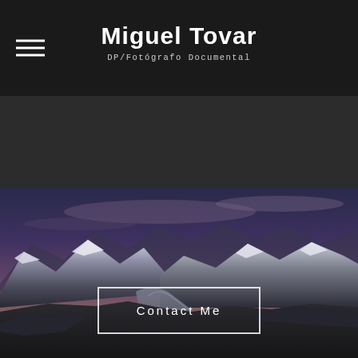Miguel Tovar
DP/Fotógrafo Documental
[Figure (photo): Mountain landscape at dusk/twilight with snow-capped peaks, a winding glacier or road in the foreground, dramatic cloudy sky with purple and blue tones]
Contact Me